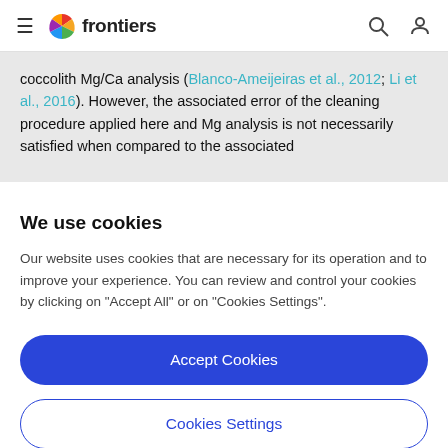frontiers (navigation bar with hamburger menu, logo, search and profile icons)
coccolith Mg/Ca analysis (Blanco-Ameijeiras et al., 2012; Li et al., 2016). However, the associated error of the cleaning procedure applied here and Mg analysis is not necessarily satisfied when compared to the associated
We use cookies
Our website uses cookies that are necessary for its operation and to improve your experience. You can review and control your cookies by clicking on "Accept All" or on "Cookies Settings".
Accept Cookies
Cookies Settings